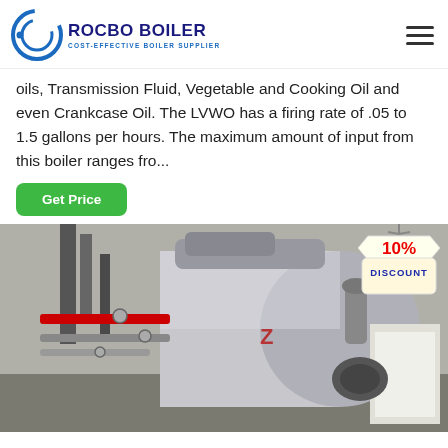ROCBO BOILER - COST-EFFECTIVE BOILER SUPPLIER
oils, Transmission Fluid, Vegetable and Cooking Oil and even Crankcase Oil. The LVWO has a firing rate of .05 to 1.5 gallons per hours. The maximum amount of input from this boiler ranges fro...
[Figure (other): Green 'Get Price' button]
[Figure (photo): Industrial boiler installation showing large horizontal steam boiler with pipes and equipment in an industrial facility. A '10% DISCOUNT' badge appears in the upper right corner of the image.]